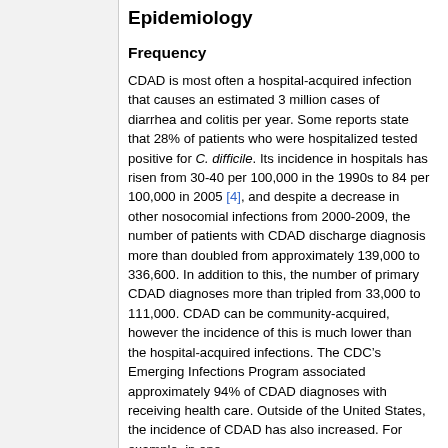Epidemiology
Frequency
CDAD is most often a hospital-acquired infection that causes an estimated 3 million cases of diarrhea and colitis per year. Some reports state that 28% of patients who were hospitalized tested positive for C. difficile. Its incidence in hospitals has risen from 30-40 per 100,000 in the 1990s to 84 per 100,000 in 2005 [4], and despite a decrease in other nosocomial infections from 2000-2009, the number of patients with CDAD discharge diagnosis more than doubled from approximately 139,000 to 336,600. In addition to this, the number of primary CDAD diagnoses more than tripled from 33,000 to 111,000. CDAD can be community-acquired, however the incidence of this is much lower than the hospital-acquired infections. The CDC’s Emerging Infections Program associated approximately 94% of CDAD diagnoses with receiving health care. Outside of the United States, the incidence of CDAD has also increased. For example, in one